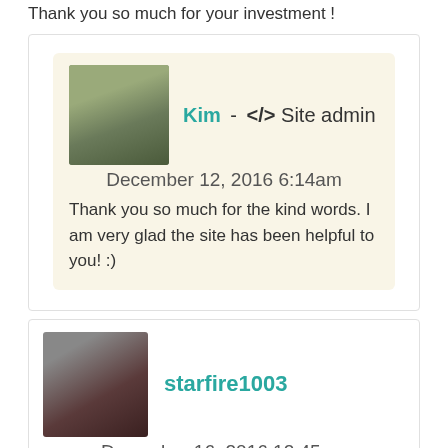Thank you so much for your investment !
Kim - </> Site admin
December 12, 2016 6:14am
Thank you so much for the kind words. I am very glad the site has been helpful to you! :)
starfire1003
December 16, 2016 12:45pm
i'm super behind on my figure drawing practice and then i logged in and was pleasantly surprised to see a